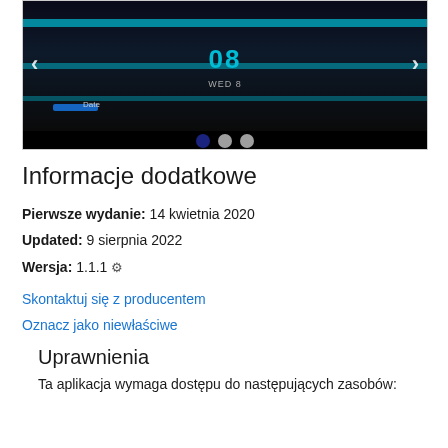[Figure (screenshot): Screenshot of a smartwatch app page showing a circular watch face with cyan/teal time display '08' on dark background with cyan horizontal bars. Navigation arrows on left and right. 'Date' label and 'WED 8' text visible. Three pagination dots below the image (first one dark/active, two grey).]
Informacje dodatkowe
Pierwsze wydanie: 14 kwietnia 2020
Updated: 9 sierpnia 2022
Wersja: 1.1.1 ⚙
Skontaktuj się z producentem
Oznacz jako niewłaściwe
Uprawnienia
Ta aplikacja wymaga dostępu do następujących zasobów: